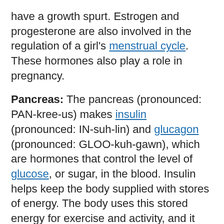have a growth spurt. Estrogen and progesterone are also involved in the regulation of a girl's menstrual cycle. These hormones also play a role in pregnancy.
Pancreas: The pancreas (pronounced: PAN-kree-us) makes insulin (pronounced: IN-suh-lin) and glucagon (pronounced: GLOO-kuh-gawn), which are hormones that control the level of glucose, or sugar, in the blood. Insulin helps keep the body supplied with stores of energy. The body uses this stored energy for exercise and activity, and it also helps organs work as they should.
How Can I Help Keep My Endocrine System Healthy?
To help keep your endocrine system healthy:
Get plenty of exercise.